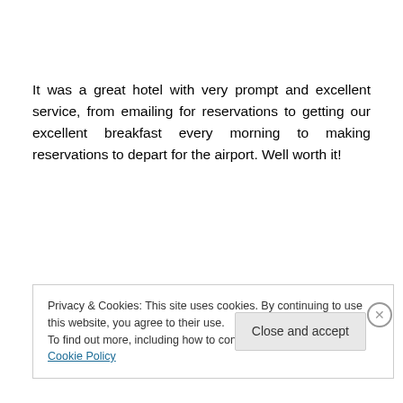It was a great hotel with very prompt and excellent service, from emailing for reservations to getting our excellent breakfast every morning to making reservations to depart for the airport. Well worth it!
Hotel Spadari al Duomo
Via Spadari 11 20123 Milano
Tel: +39.02.72002371
Privacy & Cookies: This site uses cookies. By continuing to use this website, you agree to their use.
To find out more, including how to control cookies, see here: Cookie Policy
Close and accept